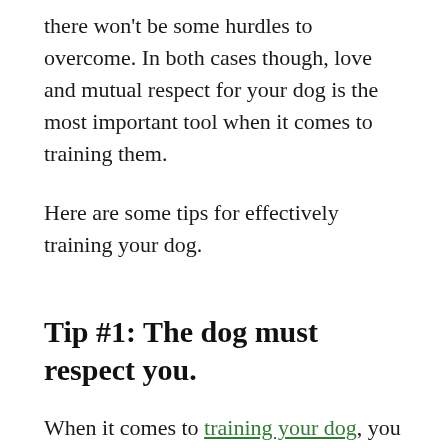there won't be some hurdles to overcome. In both cases though, love and mutual respect for your dog is the most important tool when it comes to training them.
Here are some tips for effectively training your dog.
Tip #1: The dog must respect you.
When it comes to training your dog, you must be the alpha and the one in charge. This is an important concept for anyone who owns a dog and wants to have their pet follow their